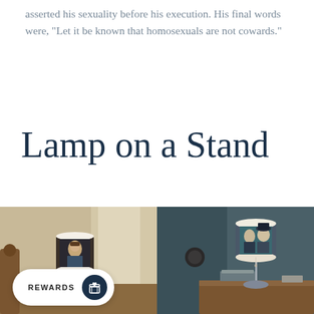asserted his sexuality before his execution. His final words were, "Let it be known that homosexuals are not cowards."
Lamp on a Stand
[Figure (photo): Two side-by-side photos of decorative lamps on stands, each with a cylindrical lampshade featuring a painted portrait. The left lamp is in a warm bedroom setting with wooden furniture and curtains. The right lamp sits on a wooden nightstand in a darker, teal-toned room. The left photo has a rewards pill overlay at the bottom showing 'REWARDS' text and a gift icon.]